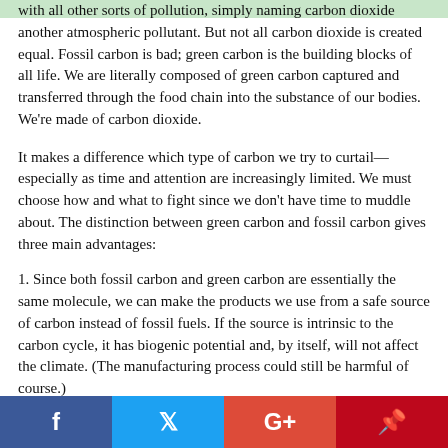with all other sorts of pollution, simply naming carbon dioxide another atmospheric pollutant. But not all carbon dioxide is created equal. Fossil carbon is bad; green carbon is the building blocks of all life. We are literally composed of green carbon captured and transferred through the food chain into the substance of our bodies. We're made of carbon dioxide.
It makes a difference which type of carbon we try to curtail—especially as time and attention are increasingly limited. We must choose how and what to fight since we don't have time to muddle about. The distinction between green carbon and fossil carbon gives three main advantages:
1. Since both fossil carbon and green carbon are essentially the same molecule, we can make the products we use from a safe source of carbon instead of fossil fuels. If the source is intrinsic to the carbon cycle, it has biogenic potential and, by itself, will not affect the climate. (The manufacturing process could still be harmful of course.)
2. We can focus our attention on the root cause. There are dozens of examples like those listed above that appear beneficial until we
f  t  G+  p